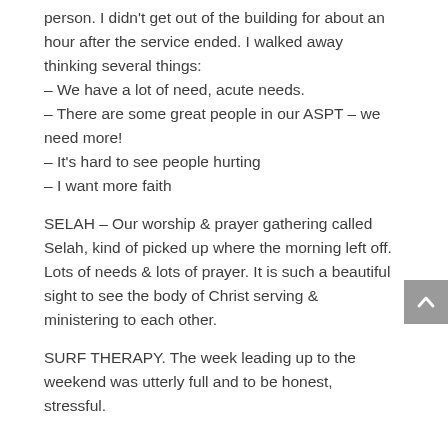person. I didn't get out of the building for about an hour after the service ended. I walked away thinking several things:
– We have a lot of need, acute needs.
– There are some great people in our ASPT – we need more!
– It's hard to see people hurting
– I want more faith
SELAH – Our worship & prayer gathering called Selah, kind of picked up where the morning left off. Lots of needs & lots of prayer. It is such a beautiful sight to see the body of Christ serving & ministering to each other.
SURF THERAPY. The week leading up to the weekend was utterly full and to be honest, stressful.